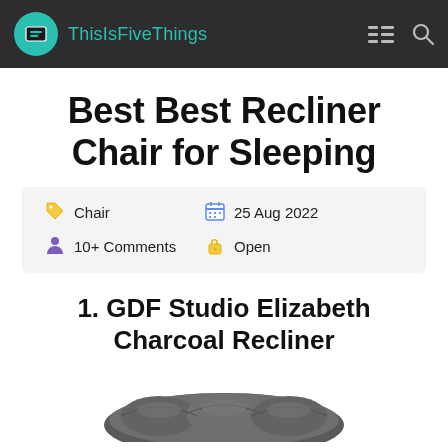ThisIsFiveThings
Best Best Recliner Chair for Sleeping
Chair  25 Aug 2022  10+ Comments  Open
1. GDF Studio Elizabeth Charcoal Recliner
[Figure (photo): Partial view of a dark charcoal recliner chair seat cushion]